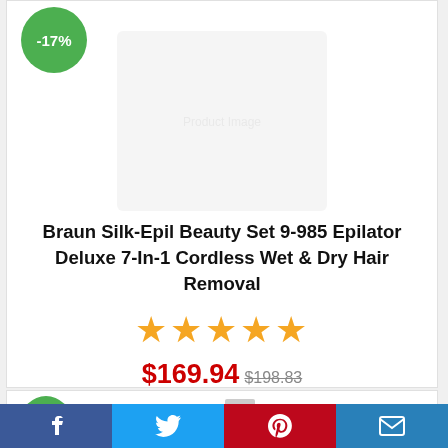[Figure (photo): Product image of Braun Silk-Epil Beauty Set 9-985 Epilator with accessories, with a green -17% discount badge]
Braun Silk-Epil Beauty Set 9-985 Epilator Deluxe 7-In-1 Cordless Wet & Dry Hair Removal
★★★★★
$169.94 $198.83
GO TO AMAZON
[Figure (photo): Partially visible second product card with green discount badge and product image stub]
Facebook | Twitter | Pinterest | Email